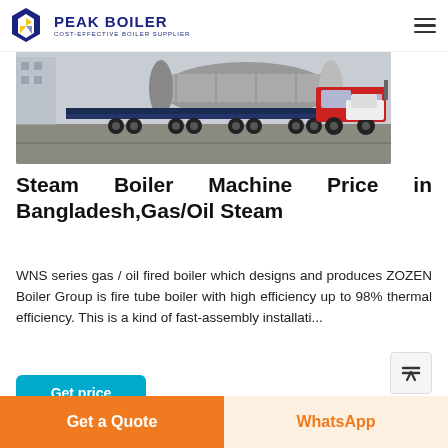PEAK BOILER — COST-EFFECTIVE BOILER SUPPLIER
[Figure (photo): A large industrial boiler/tank being transported on a flatbed semi-truck in a shipping or industrial yard, with other vehicles visible in the background.]
Steam Boiler Machine Price in Bangladesh,Gas/Oil Steam
WNS series gas / oil fired boiler which designs and produces ZOZEN Boiler Group is fire tube boiler with high efficiency up to 98% thermal efficiency. This is a kind of fast-assembly installati...
Get price
Get a Quote
WhatsApp